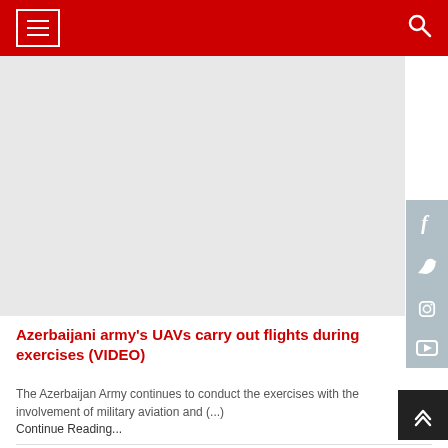Navigation menu with hamburger button and search icon on red header bar
[Figure (other): Gray advertisement or image placeholder area below the header]
Azerbaijani army's UAVs carry out flights during exercises (VIDEO)
The Azerbaijan Army continues to conduct the exercises with the involvement of military aviation and (...)
Continue Reading...